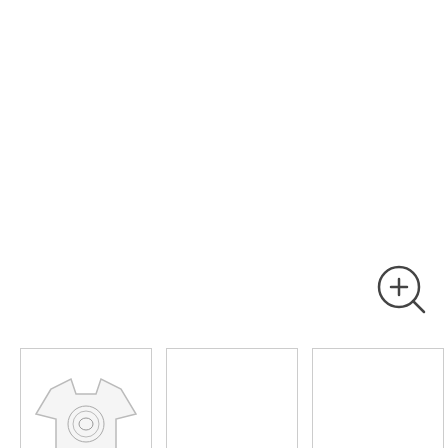[Figure (illustration): Zoom/magnify icon — circle with a plus sign inside a magnifying glass]
[Figure (photo): Thumbnail strip with three boxes: first shows a white Frog Society Men's T-Shirt, second and third are empty white boxes with grey borders]
Frog Society Men's T-Shirt - White
£14.99
Size Guide